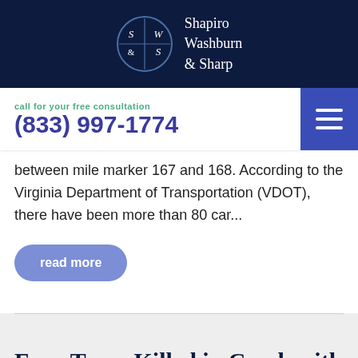[Figure (logo): Shapiro Washburn & Sharp law firm logo with circular emblem and firm name in white text on dark navy background]
call for your free consultation
(833) 997-1774
between mile marker 167 and 168. According to the Virginia Department of Transportation (VDOT), there have been more than 80 car...
read more
Four Teens Killed in Crash with School Bus in Lumberton, N.C.